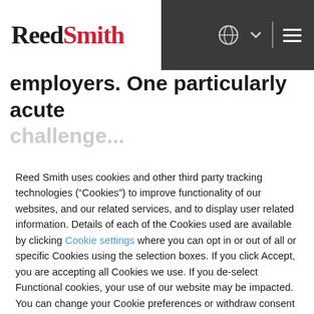ReedSmith
employers. One particularly acute challenge...
Reed Smith uses cookies and other third party tracking technologies (“Cookies”) to improve functionality of our websites, and our related services, and to display user related information. Details of each of the Cookies used are available by clicking Cookie settings where you can opt in or out of all or specific Cookies using the selection boxes. If you click Accept, you are accepting all Cookies we use. If you de-select Functional cookies, your use of our website may be impacted. You can change your Cookie preferences or withdraw consent at any time by accessing the Cookie settings.
ACCEPT
DENY
Powered by usercentrics